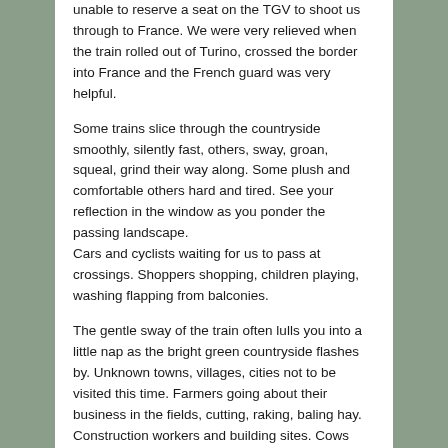unable to reserve a seat on the TGV to shoot us through to France. We were very relieved when the train rolled out of Turino, crossed the border into France and the French guard was very helpful.
Some trains slice through the countryside smoothly, silently fast, others, sway, groan, squeal, grind their way along. Some plush and comfortable others hard and tired. See your reflection in the window as you ponder the passing landscape.
Cars and cyclists waiting for us to pass at crossings. Shoppers shopping, children playing, washing flapping from balconies.
The gentle sway of the train often lulls you into a little nap as the bright green countryside flashes by. Unknown towns, villages, cities not to be visited this time. Farmers going about their business in the fields, cutting, raking, baling hay. Construction workers and building sites. Cows calmly chewing their cud in the field of ample pastures. Canola pods filling, barley heads swaying in the breeze, poppy flowers showing their weed status in the crops.